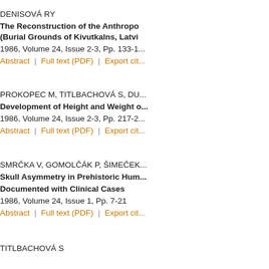DENISOVÁ RY
The Reconstruction of the Anthropo... (Burial Grounds of Kivutkalns, Latvi...
1986, Volume 24, Issue 2-3, Pp. 133-1...
Abstract | Full text (PDF) | Export cit...
PROKOPEC M, TITLBACHOVÁ S, DU...
Development of Height and Weight o...
1986, Volume 24, Issue 2-3, Pp. 217-2...
Abstract | Full text (PDF) | Export cit...
SMRČKA V, GOMOLČÁK P, ŠIMEČEK...
Skull Asymmetry in Prehistoric Hum... Documented with Clinical Cases
1986, Volume 24, Issue 1, Pp. 7-21
Abstract | Full text (PDF) | Export cit...
TITLBACHOVÁ S